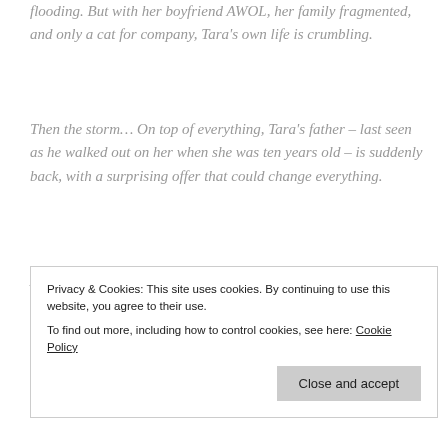flooding. But with her boyfriend AWOL, her family fragmented, and only a cat for company, Tara's own life is crumbling.
Then the storm… On top of everything, Tara's father – last seen as he walked out on her when she was ten years old – is suddenly back, with a surprising offer that could change everything.
And after the rain… Dr David Dalloway is Longhampton Wellness Centre's new star counsellor. He's charming, caring and has a knack for reading people's minds – which is the last thing Tara needs right now. Will having David and her dad
Privacy & Cookies: This site uses cookies. By continuing to use this website, you agree to their use.
To find out more, including how to control cookies, see here: Cookie Policy